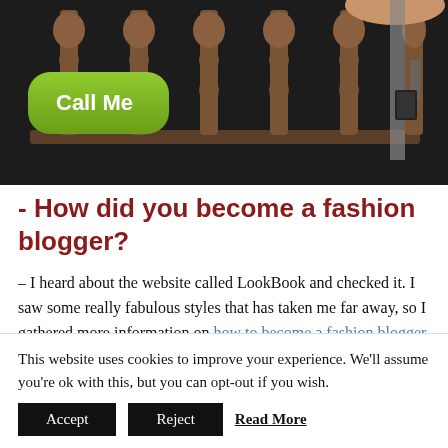[Figure (photo): Dark background photo showing ornamental iron fence/railings with decorative spindles, and a person's hand/suspenders visible on the right side. A green rounded button overlay reads 'Call Me'.]
- How did you become a fashion blogger?
– I heard about the website called LookBook and checked it. I saw some really fabulous styles that has taken me far away, so I gathered more information on how to become a fashion blogger. I was so attached by the looks and finally it became my passion.
This website uses cookies to improve your experience. We'll assume you're ok with this, but you can opt-out if you wish.